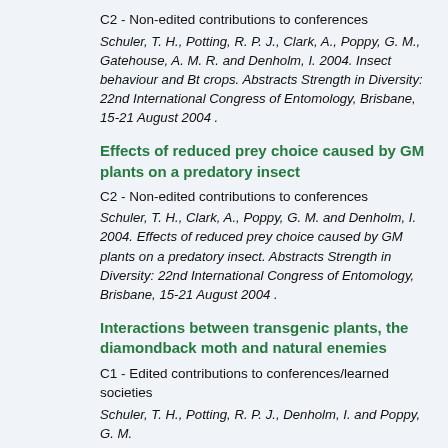C2 - Non-edited contributions to conferences
Schuler, T. H., Potting, R. P. J., Clark, A., Poppy, G. M., Gatehouse, A. M. R. and Denholm, I. 2004. Insect behaviour and Bt crops. Abstracts Strength in Diversity: 22nd International Congress of Entomology, Brisbane, 15-21 August 2004 .
Effects of reduced prey choice caused by GM plants on a predatory insect
C2 - Non-edited contributions to conferences
Schuler, T. H., Clark, A., Poppy, G. M. and Denholm, I. 2004. Effects of reduced prey choice caused by GM plants on a predatory insect. Abstracts Strength in Diversity: 22nd International Congress of Entomology, Brisbane, 15-21 August 2004 .
Interactions between transgenic plants, the diamondback moth and natural enemies
C1 - Edited contributions to conferences/learned societies
Schuler, T. H., Potting, R. P. J., Denholm, I. and Poppy, G. M.